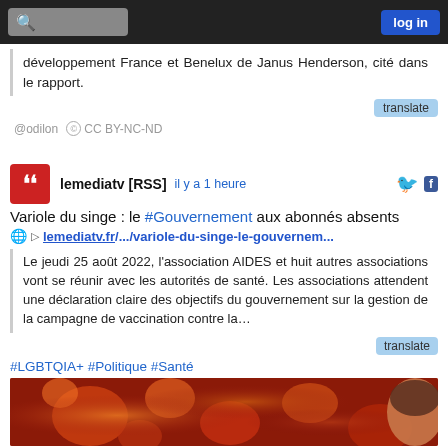log in
développement France et Benelux de Janus Henderson, cité dans le rapport.
translate
@odilon  CC BY-NC-ND
lemediatv [RSS]  il y a 1 heure
Variole du singe : le #Gouvernement aux abonnés absents
lemediatv.fr/.../variole-du-singe-le-gouvernem...
Le jeudi 25 août 2022, l'association AIDES et huit autres associations vont se réunir avec les autorités de santé. Les associations attendent une déclaration claire des objectifs du gouvernement sur la gestion de la campagne de vaccination contre la…
translate
#LGBTQIA+ #Politique #Santé
[Figure (photo): Close-up image of monkeypox virus particles, orange and red colored on dark background, with partial face of person visible on right side]